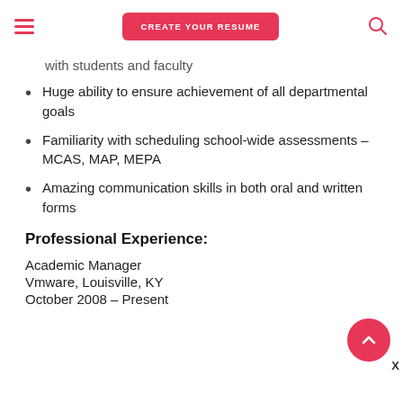CREATE YOUR RESUME
with students and faculty
Huge ability to ensure achievement of all departmental goals
Familiarity with scheduling school-wide assessments – MCAS, MAP, MEPA
Amazing communication skills in both oral and written forms
Professional Experience:
Academic Manager
Vmware, Louisville, KY
October 2008 – Present